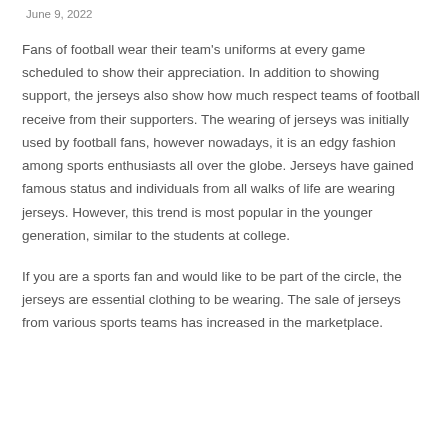June 9, 2022
Fans of football wear their team's uniforms at every game scheduled to show their appreciation. In addition to showing support, the jerseys also show how much respect teams of football receive from their supporters. The wearing of jerseys was initially used by football fans, however nowadays, it is an edgy fashion among sports enthusiasts all over the globe. Jerseys have gained famous status and individuals from all walks of life are wearing jerseys. However, this trend is most popular in the younger generation, similar to the students at college.
If you are a sports fan and would like to be part of the circle, the jerseys are essential clothing to be wearing. The sale of jerseys from various sports teams has increased in the marketplace.